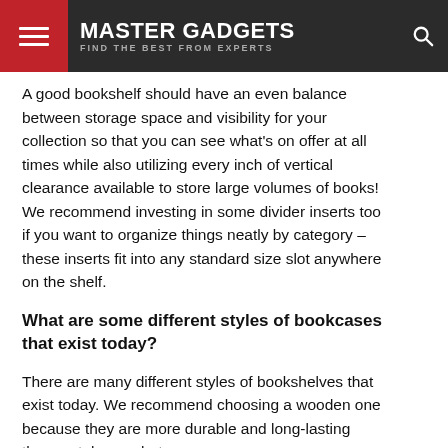MASTER GADGETS | FIND THE BEST FROM EXPERTS
A good bookshelf should have an even balance between storage space and visibility for your collection so that you can see what’s on offer at all times while also utilizing every inch of vertical clearance available to store large volumes of books! We recommend investing in some divider inserts too if you want to organize things neatly by category – these inserts fit into any standard size slot anywhere on the shelf.
What are some different styles of bookcases that exist today?
There are many different styles of bookshelves that exist today. We recommend choosing a wooden one because they are more durable and long-lasting than metal ones, but they do have the option to customize this in another material...